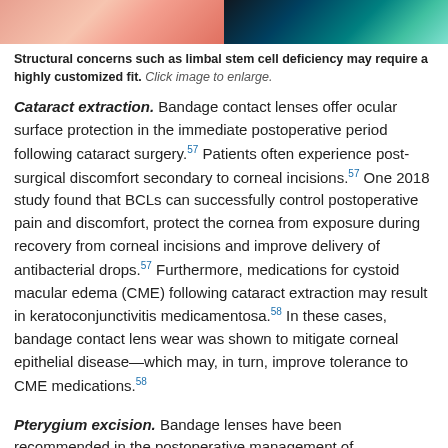[Figure (photo): Two side-by-side clinical eye images: left showing a pinkish-red ocular surface, right showing a teal/green ocular surface under different imaging.]
Structural concerns such as limbal stem cell deficiency may require a highly customized fit. Click image to enlarge.
Cataract extraction. Bandage contact lenses offer ocular surface protection in the immediate postoperative period following cataract surgery.57 Patients often experience post-surgical discomfort secondary to corneal incisions.57 One 2018 study found that BCLs can successfully control postoperative pain and discomfort, protect the cornea from exposure during recovery from corneal incisions and improve delivery of antibacterial drops.57 Furthermore, medications for cystoid macular edema (CME) following cataract extraction may result in keratoconjunctivitis medicamentosa.58 In these cases, bandage contact lens wear was shown to mitigate corneal epithelial disease—which may, in turn, improve tolerance to CME medications.58
Pterygium excision. Bandage lenses have been recommended in the postoperative management of